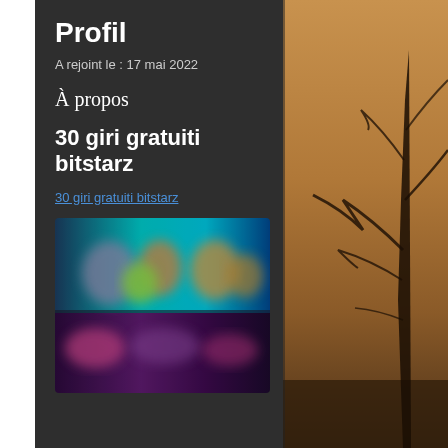Profil
A rejoint le : 17 mai 2022
À propos
30 giri gratuiti bitstarz
30 giri gratuiti bitstarz
[Figure (screenshot): Blurred screenshot showing a colorful video game or streaming interface with animated characters]